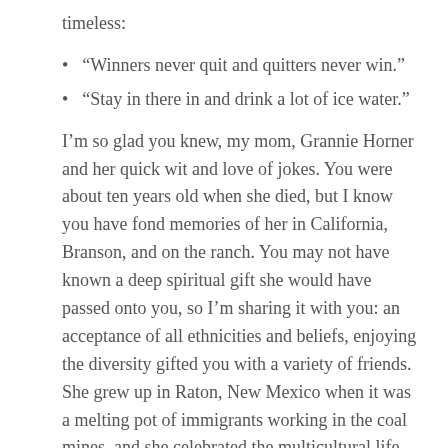timeless:
“Winners never quit and quitters never win.”
“Stay in there in and drink a lot of ice water.”
I’m so glad you knew, my mom, Grannie Horner and her quick wit and love of jokes. You were about ten years old when she died, but I know you have fond memories of her in California, Branson, and on the ranch. You may not have known a deep spiritual gift she would have passed onto you, so I’m sharing it with you: an acceptance of all ethnicities and beliefs, enjoying the diversity gifted you with a variety of friends. She grew up in Raton, New Mexico when it was a melting pot of immigrants working in the coal mines, and she celebrated the multicultural life she lived. When she was in high school, she worked for a Greek family at the Sweet Shop and often spoke of their dancing and food—adopt an open, loving heart like